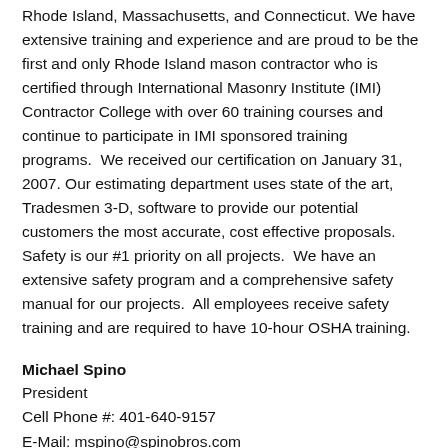Rhode Island, Massachusetts, and Connecticut. We have extensive training and experience and are proud to be the first and only Rhode Island mason contractor who is certified through International Masonry Institute (IMI) Contractor College with over 60 training courses and continue to participate in IMI sponsored training programs.  We received our certification on January 31, 2007. Our estimating department uses state of the art, Tradesmen 3-D, software to provide our potential customers the most accurate, cost effective proposals. Safety is our #1 priority on all projects.  We have an extensive safety program and a comprehensive safety manual for our projects.  All employees receive safety training and are required to have 10-hour OSHA training.
Michael Spino
President
Cell Phone #: 401-640-9157
E-Mail: mspino@spinobros.com
Scott Lindemann